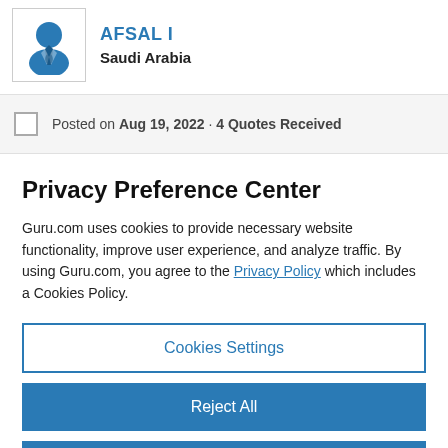[Figure (illustration): Blue user avatar icon with tie, inside a bordered box]
AFSAL I
Saudi Arabia
Posted on Aug 19, 2022 · 4 Quotes Received
Privacy Preference Center
Guru.com uses cookies to provide necessary website functionality, improve user experience, and analyze traffic. By using Guru.com, you agree to the Privacy Policy which includes a Cookies Policy.
Cookies Settings
Reject All
Accept All Cookies